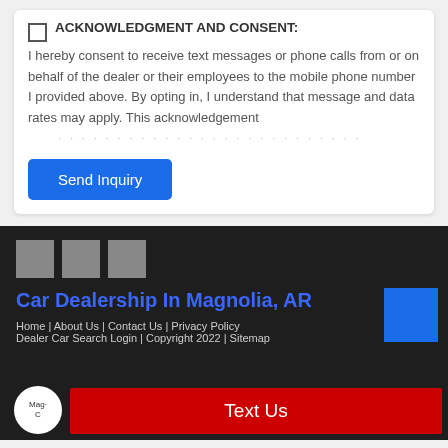ACKNOWLEDGMENT AND CONSENT: I hereby consent to receive text messages or phone calls from or on behalf of the dealer or their employees to the mobile phone number I provided above. By opting in, I understand that message and data rates may apply. This acknowledgement …
Send Inquiry
[Figure (other): Three gray social media icon placeholder squares]
Car Dealership In Magnolia, AR
Home | About Us | Contact Us | Privacy Policy Dealer Car Search Login | Copyright 2022 | Sitemap
Text Us